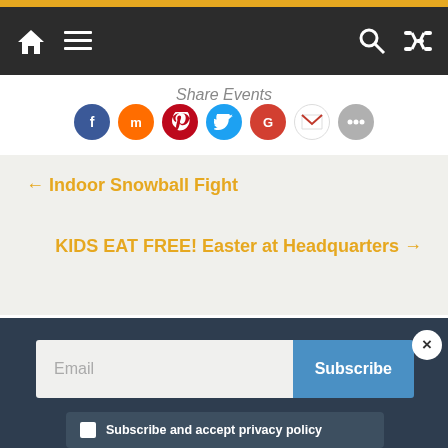Navigation bar with home, menu, search, and shuffle icons
Share Events
[Figure (infographic): Row of social sharing icon circles: Facebook (blue), Mix (orange), Pinterest (red), Twitter (blue), Google (red), Gmail (white/grey), More (grey)]
← Indoor Snowball Fight
KIDS EAT FREE! Easter at Headquarters →
Leave a Reply
Email
Subscribe
Subscribe and accept privacy policy